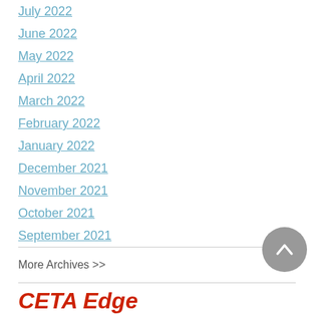July 2022
June 2022
May 2022
April 2022
March 2022
February 2022
January 2022
December 2021
November 2021
October 2021
September 2021
More Archives >>
CETA Edge